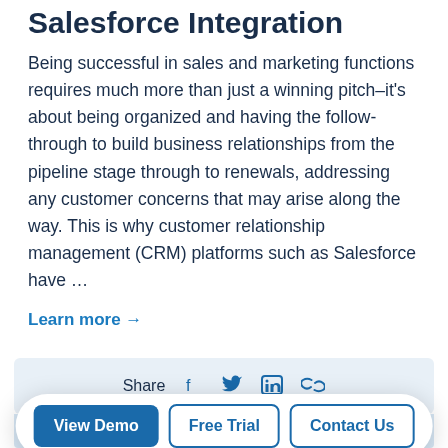Salesforce Integration
Being successful in sales and marketing functions requires much more than just a winning pitch–it's about being organized and having the follow-through to build business relationships from the pipeline stage through to renewals, addressing any customer concerns that may arise along the way. This is why customer relationship management (CRM) platforms such as Salesforce have …
Learn more →
Share
Su
View Demo   Free Trial   Contact Us
A monthly digest of business news, delivered to your